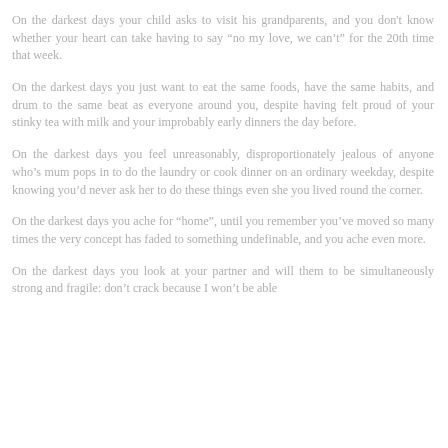On the darkest days your child asks to visit his grandparents, and you don't know whether your heart can take having to say “no my love, we can’t” for the 20th time that week.
On the darkest days you just want to eat the same foods, have the same habits, and drum to the same beat as everyone around you, despite having felt proud of your stinky tea with milk and your improbably early dinners the day before.
On the darkest days you feel unreasonably, disproportionately jealous of anyone who’s mum pops in to do the laundry or cook dinner on an ordinary weekday, despite knowing you’d never ask her to do these things even she you lived round the corner.
On the darkest days you ache for “home”, until you remember you’ve moved so many times the very concept has faded to something undefinable, and you ache even more.
On the darkest days you look at your partner and will them to be simultaneously strong and fragile: don’t crack because I won’t be able